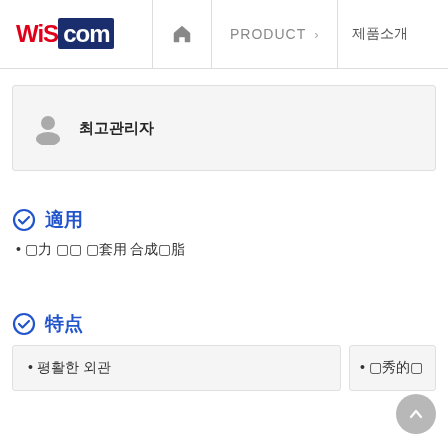WiSCom | 🏠 | PRODUCT > | 제품소개
최고관리자
適用
▪ ⊠力 ⊠⊠ ⊠套用 合成⊠脂
特点
▪ 평활한 외관
▪ ⊠秀的⊠